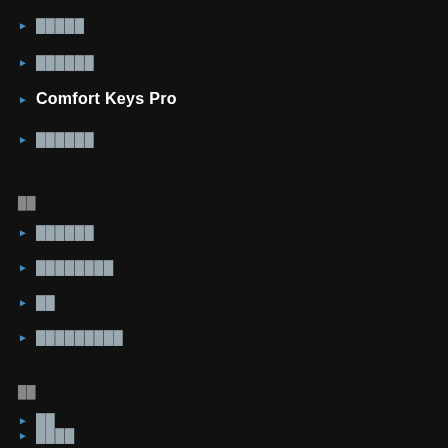█████
██████
Comfort Keys Pro
██████
██
██████
████████
██
█████████
██
██
██
████